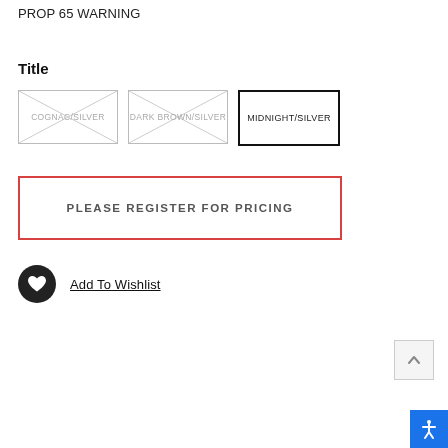PROP 65 WARNING
Title
[Figure (other): Three color swatch options: COGNAC/SILVER (crossed out/unavailable), DARK BROWN/SILVER (crossed out/unavailable), MIDNIGHT/SILVER (selected, black border)]
PLEASE REGISTER FOR PRICING
Add To Wishlist